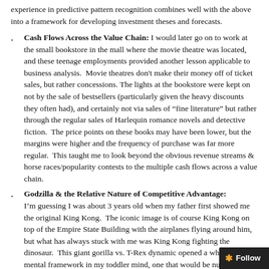experience in predictive pattern recognition combines well with the above into a framework for developing investment theses and forecasts.
Cash Flows Across the Value Chain: I would later go on to work at the small bookstore in the mall where the movie theatre was located, and these teenage employments provided another lesson applicable to business analysis. Movie theatres don't make their money off of ticket sales, but rather concessions. The lights at the bookstore were kept on not by the sale of bestsellers (particularly given the heavy discounts they often had), and certainly not via sales of "fine literature" but rather through the regular sales of Harlequin romance novels and detective fiction. The price points on these books may have been lower, but the margins were higher and the frequency of purchase was far more regular. This taught me to look beyond the obvious revenue streams & horse races/popularity contests to the multiple cash flows across a value chain.
Godzilla & the Relative Nature of Competitive Advantage: I'm guessing I was about 3 years old when my father first showed me the original King Kong. The iconic image is of course King Kong on top of the Empire State Building with the airplanes flying around him, but what has always stuck with me was King Kong fighting the dinosaur. This giant gorilla vs. T-Rex dynamic opened a whole new mental framework in my toddler mind, one that would be nurtured by a healthy